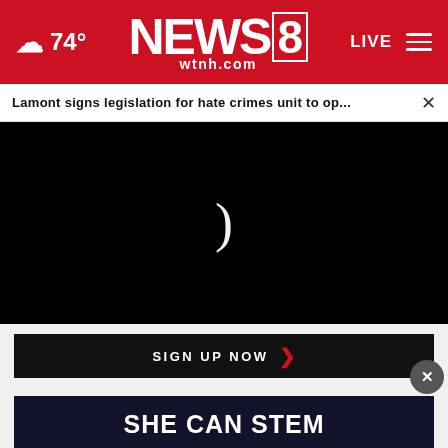74° NEWS 8 wtnh.com LIVE
Lamont signs legislation for hate crimes unit to op...
[Figure (screenshot): Black video player area with a loading spinner (parenthesis symbol) in the center, indicating a video is loading on the WTNH News 8 website.]
SIGN UP NOW
SHE CAN STEM
TOP STORIES